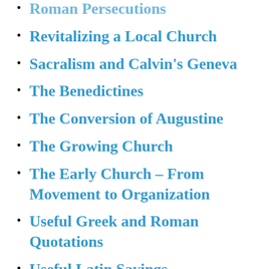Roman Persecutions
Revitalizing a Local Church
Sacralism and Calvin's Geneva
The Benedictines
The Conversion of Augustine
The Growing Church
The Early Church – From Movement to Organization
Useful Greek and Roman Quotations
Useful Latin Sayings
What Political Developments of the 20th Century Events Had the Greatest Impact on the Church?
What Was the Most Important Part of Luther's Theology?
What Were Willian Carey's Contribution to the Modern Missions Movement?